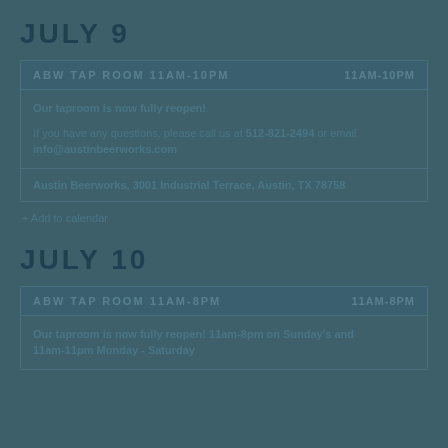JULY 9
ABW TAP ROOM 11AM-10PM    11AM-10PM
Our taproom is now fully reopen!
If you have any questions, please call us at 512-821-2494 or email info@austinbeerworks.com
Austin Beerworks, 3001 Industrial Terrace, Austin, TX 78758
+ Add to calendar
JULY 10
ABW TAP ROOM 11AM-8PM    11AM-8PM
Our taproom is now fully reopen! 11am-8pm on Sunday's and 11am-11pm Monday - Saturday